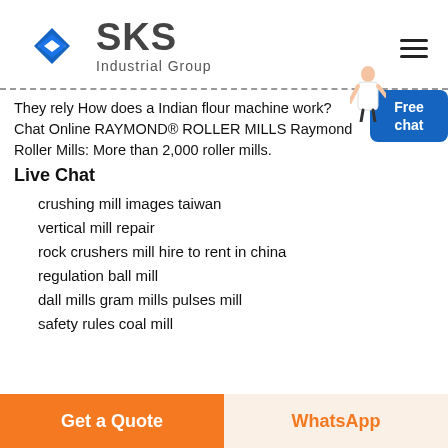[Figure (logo): SKS Industrial Group logo with blue diamond/arrow icon and gray text]
They rely How does a Indian flour machine work? Chat Online RAYMOND® ROLLER MILLS Raymond Roller Mills: More than 2,000 roller mills.
Live Chat
crushing mill images taiwan
vertical mill repair
rock crushers mill hire to rent in china
regulation ball mill
dall mills gram mills pulses mill
safety rules coal mill
Get a Quote   WhatsApp